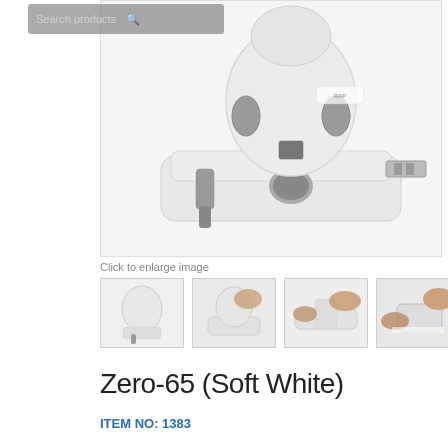[Figure (screenshot): Search bar with 'Search products' placeholder text and magnifying glass icon, partially overlaid on product image]
[Figure (photo): Main product photo of Zero-65 Soft White two-hole punch on white background, close-up view showing the white and grey punch mechanism with a USB-like plug on the right side]
Click to enlarge image
[Figure (photo): Thumbnail 1: Side view of Zero-65 white hole punch]
[Figure (photo): Thumbnail 2: Person using the hole punch on paper]
[Figure (photo): Thumbnail 3: Close-up of person punching holes in paper]
[Figure (photo): Thumbnail 4: Close-up of punched holes with hand holding paper]
Zero-65 (Soft White)
ITEM NO: 1383